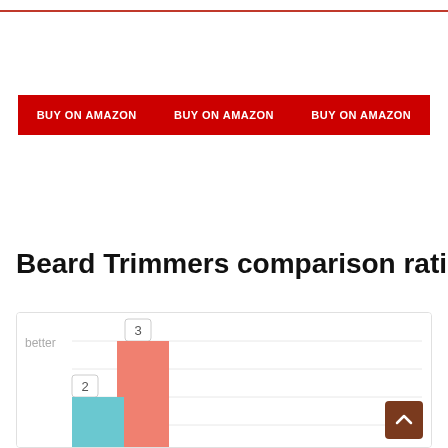[Figure (other): Three red BUY ON AMAZON buttons arranged horizontally]
Beard Trimmers comparison rating
[Figure (bar-chart): Beard Trimmers comparison rating]